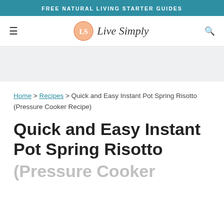FREE NATURAL LIVING STARTER GUIDES
[Figure (logo): Live Simply website logo with circular LS icon and italic script text]
Home > Recipes > Quick and Easy Instant Pot Spring Risotto (Pressure Cooker Recipe)
Quick and Easy Instant Pot Spring Risotto (Pressure Cooker Recipe)